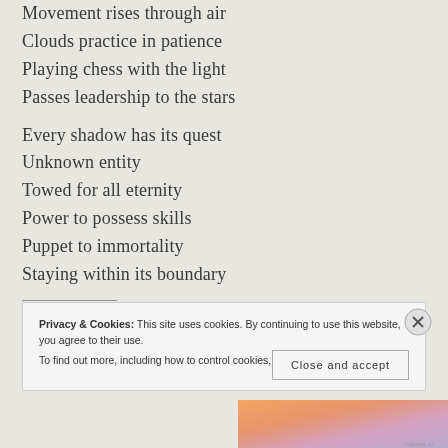Movement rises through air
Clouds practice in patience
Playing chess with the light
Passes leadership to the stars

Every shadow has its quest
Unknown entity
Towed for all eternity
Power to possess skills
Puppet to immortality
Staying within its boundary
Privacy & Cookies: This site uses cookies. By continuing to use this website, you agree to their use.
To find out more, including how to control cookies, see here: Cookie Policy
[Figure (illustration): Colorful gradient illustration at bottom right, orange, pink, and purple tones with small text overlay]